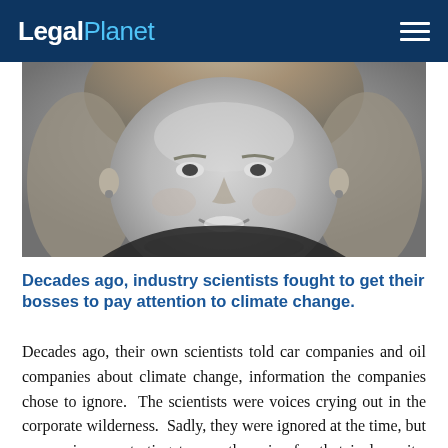LegalPlanet
[Figure (photo): Black and white close-up portrait photo of a smiling older woman with light-colored hair and earrings.]
Decades ago, industry scientists fought to get their bosses to pay attention to climate change.
Decades ago, their own scientists told car companies and oil companies about climate change, information the companies chose to ignore.  The scientists were voices crying out in the corporate wilderness.  Sadly, they were ignored at the time, but companies are starting to pay the price for that in lawsuits. Those